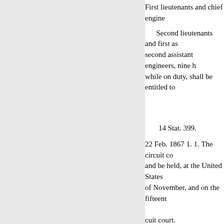First lieutenants and chief engine...
Second lieutenants and first as... second assistant engineers, nine h... while on duty, shall be entitled to...
14 Stat. 399.
22 Feb. 1867 1. 1. The circuit co... and be held, at the United States ... of November, and on the fifteenth... cuit court.
the places heretofore established... Sunday, the session of said court...
2. All indictments, information... criminal nature, pending in the sa... have day in court, and be procee... appointed for holding the said co... been holden on the days and at th...
3. All writs, suits, actions or re... commenced, or taken to the said...